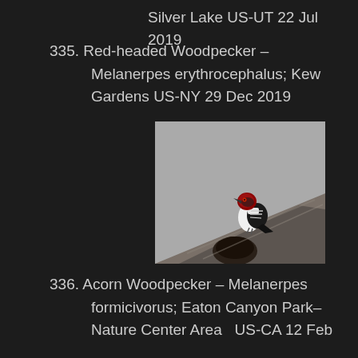Silver Lake US-UT 22 Jul 2019
335. Red-headed Woodpecker – Melanerpes erythrocephalus; Kew Gardens US-NY 29 Dec 2019
[Figure (photo): Red-headed Woodpecker (Melanerpes erythrocephalus) perched on a weathered log or stump against a grey sky background. The bird displays its characteristic red head, black and white body plumage.]
336. Acorn Woodpecker – Melanerpes formicivorus; Eaton Canyon Park–Nature Center Area  US-CA 12 Feb